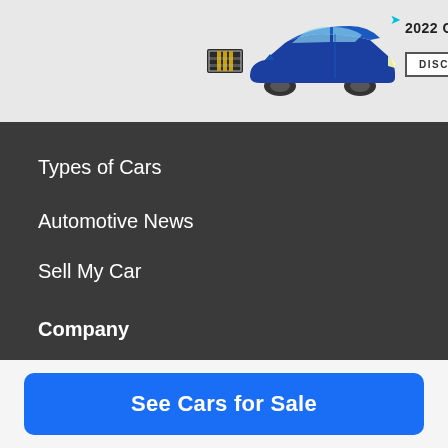[Figure (screenshot): Advertisement banner for 2022 Cadillac CT4-V showing car logo, blue car image, title text '2022 CADILLAC CT4-V' with cursor icon, and a 'DISCOVER CT4-V' button]
Car Deals
Car Shopping
Types of Cars
Automotive News
Sell My Car
Company
About Us
Advertise
Subscribe
Careers
Used Car Values
Legal
See Cars for Sale